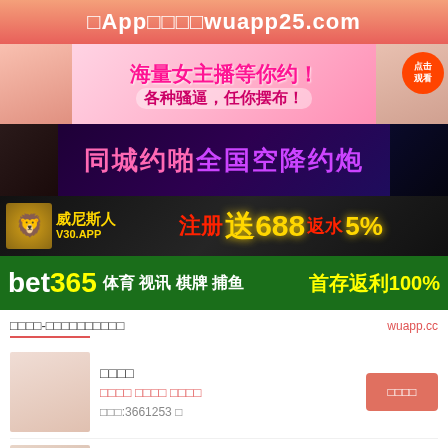□App□□□□wuapp25.com
[Figure (photo): Advertisement banner: female streamer promotion with Chinese text 海量女主播等你约！各种骚逼，任你摆布！ and click button 点击观看]
[Figure (photo): Advertisement banner with dark purple background and Chinese text 同城约啪全国空降约炮]
[Figure (photo): Casino advertisement: 威尼斯人 V30.APP 注册送688 返水5%]
[Figure (photo): bet365 advertisement: 体育 视讯 棋牌 捕鱼 首存返利100%]
□□□□-□□□□□□□□□□
wuapp.cc
□□□□
□□□□ □□□□ □□□□
□□□:3661253 □
□□□□
□□□□